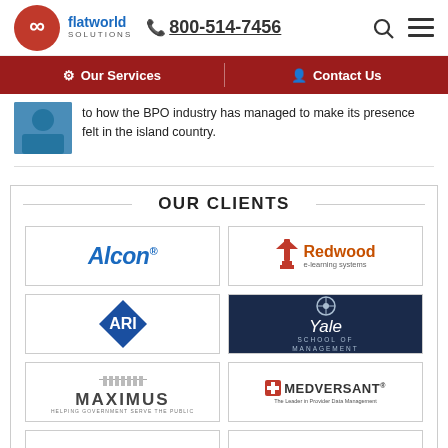[Figure (logo): Flat World Solutions logo with infinity symbol, phone number 800-514-7456, search and menu icons]
Our Services | Contact Us
to how the BPO industry has managed to make its presence felt in the island country.
OUR CLIENTS
[Figure (logo): Alcon logo]
[Figure (logo): Redwood e-learning systems logo]
[Figure (logo): ARI diamond logo]
[Figure (logo): Yale School of Management logo]
[Figure (logo): MAXIMUS logo]
[Figure (logo): Medversant logo]